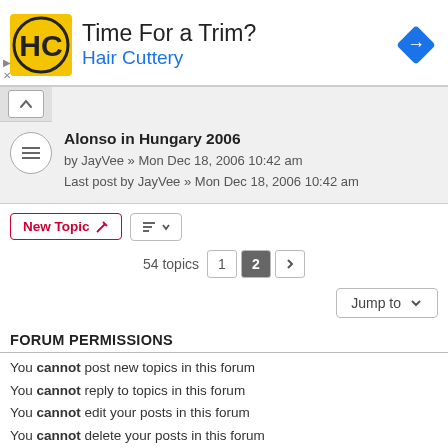[Figure (infographic): Advertisement banner for Hair Cuttery with logo, text 'Time For a Trim?' and 'Hair Cuttery', and a blue navigation arrow icon]
Alonso in Hungary 2006
by JayVee » Mon Dec 18, 2006 10:42 am
Last post by JayVee » Mon Dec 18, 2006 10:42 am
New Topic | sort | 54 topics  1  2  >
Jump to
FORUM PERMISSIONS
You cannot post new topics in this forum
You cannot reply to topics in this forum
You cannot edit your posts in this forum
You cannot delete your posts in this forum
You cannot post attachments in this forum